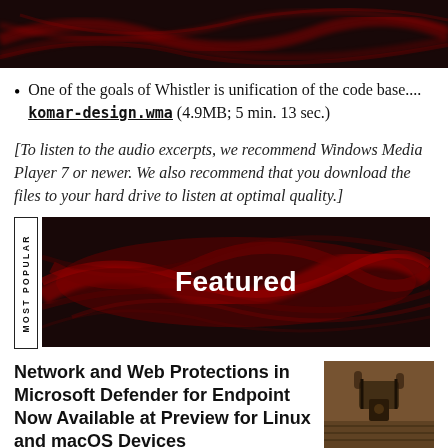Redmond
One of the goals of Whistler is unification of the code base.... komar-design.wma (4.9MB; 5 min. 13 sec.)
[To listen to the audio excerpts, we recommend Windows Media Player 7 or newer. We also recommend that you download the files to your hard drive to listen at optimal quality.]
[Figure (other): Featured banner with red abstract wave texture on dark background]
Network and Web Protections in Microsoft Defender for Endpoint Now Available at Preview for Linux and macOS Devices
[Figure (photo): Photo of a padlock on a wooden door]